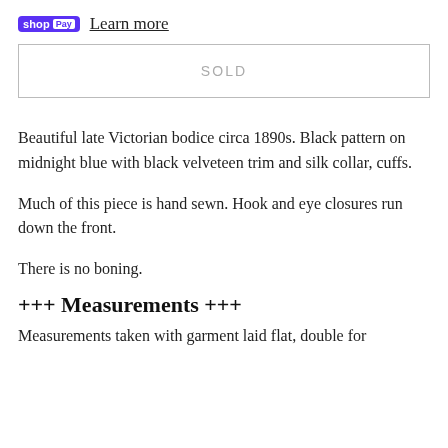shop Pay  Learn more
SOLD
Beautiful late Victorian bodice circa 1890s. Black pattern on midnight blue with black velveteen trim and silk collar, cuffs.
Much of this piece is hand sewn. Hook and eye closures run down the front.
There is no boning.
+++ Measurements +++
Measurements taken with garment laid flat, double for